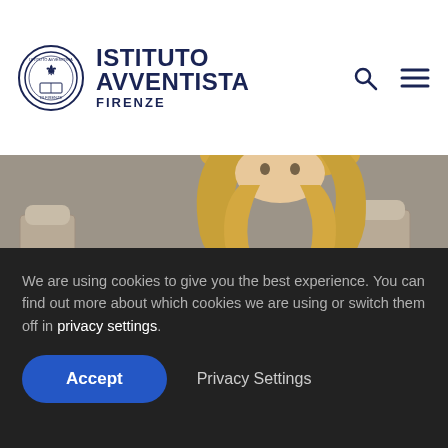ISTITUTO AVVENTISTA FIRENZE
[Figure (photo): A woman with long blonde hair wearing a black top sits at a white outdoor café table with two white coffee cups and saucers. Beige café chairs are visible in the background.]
1.000 + Challenge
We are using cookies to give you the best experience. You can find out more about which cookies we are using or switch them off in privacy settings.
Accept | Privacy Settings